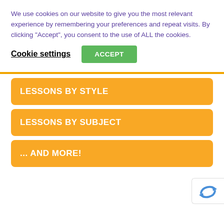We use cookies on our website to give you the most relevant experience by remembering your preferences and repeat visits. By clicking “Accept”, you consent to the use of ALL the cookies.
Cookie settings
ACCEPT
LESSONS BY STYLE
LESSONS BY SUBJECT
... AND MORE!